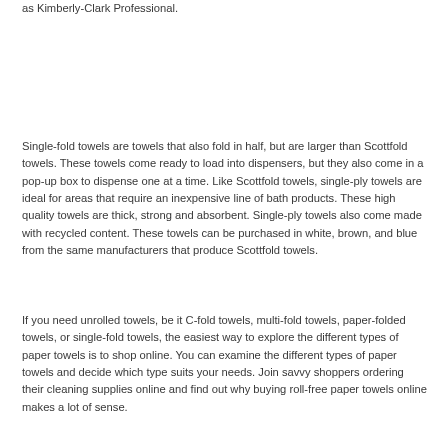as Kimberly-Clark Professional.
Single-fold towels are towels that also fold in half, but are larger than Scottfold towels. These towels come ready to load into dispensers, but they also come in a pop-up box to dispense one at a time. Like Scottfold towels, single-ply towels are ideal for areas that require an inexpensive line of bath products. These high quality towels are thick, strong and absorbent. Single-ply towels also come made with recycled content. These towels can be purchased in white, brown, and blue from the same manufacturers that produce Scottfold towels.
If you need unrolled towels, be it C-fold towels, multi-fold towels, paper-folded towels, or single-fold towels, the easiest way to explore the different types of paper towels is to shop online. You can examine the different types of paper towels and decide which type suits your needs. Join savvy shoppers ordering their cleaning supplies online and find out why buying roll-free paper towels online makes a lot of sense.